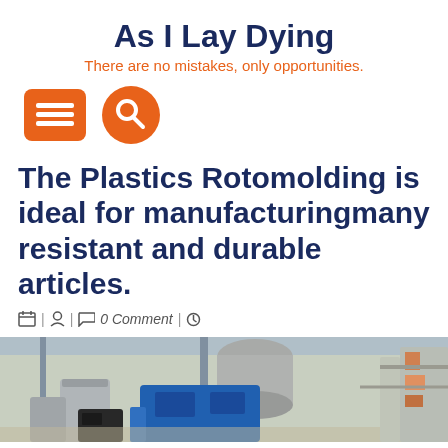As I Lay Dying
There are no mistakes, only opportunities.
[Figure (screenshot): Navigation icons: orange square menu button with three horizontal lines, and orange circle search button with magnifying glass]
The Plastics Rotomolding is ideal for manufacturingmany resistant and durable articles.
📅 | 👤 | 💬 0 Comment | 🕐
[Figure (photo): Industrial rotomolding manufacturing facility interior showing machinery including a blue rotomolding machine, metal tanks, ventilation ducts, and various industrial equipment in a warehouse setting.]